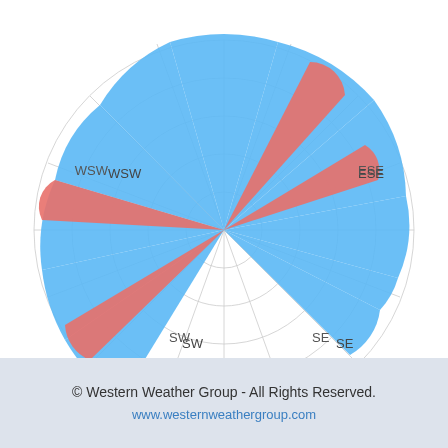[Figure (radar-chart): Wind rose diagram showing wind speed and direction distribution. Compass directions WSW, ESE, SW, SE, SSW, SSE, S are labeled. The chart shows wind frequencies in different directions, color-coded by speed. Blue represents >0 to 5 mph (95.3%), salmon/red represents >5 to 10 mph (4.7%).]
>0 to 5 mph (95.3%)
>5 to 10 mph (4.7%)
>10 to 20 mph (0.0%)
>20 to 30 mph (0.0%)
>30 mph (0.0%)
Calm: 0.0%
© Western Weather Group - All Rights Reserved. www.westernweathergroup.com